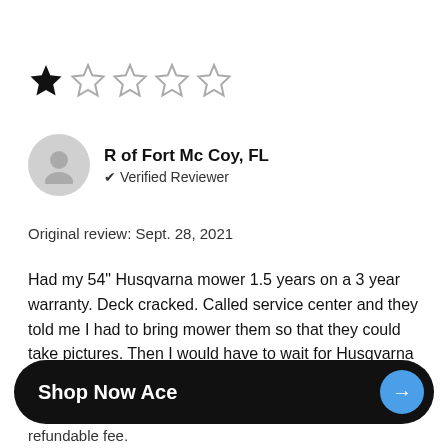[Figure (other): 1 out of 5 stars rating: one filled black star followed by four empty outline stars]
R of Fort Mc Coy, FL
✔ Verified Reviewer
Original review: Sept. 28, 2021
Had my 54" Husqvarna mower 1.5 years on a 3 year warranty. Deck cracked. Called service center and they told me I had to bring mower them so that they could take pictures. Then I would have to wait for Husqvarna to come back with an approval. I told them I don't have a truck, I am 76 years old and had
Shop Now Ace
refundable fee.